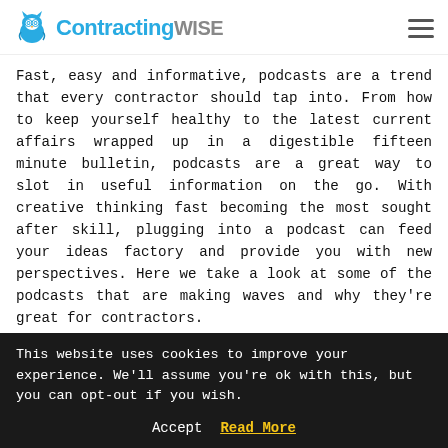ContractingWISE
Fast, easy and informative, podcasts are a trend that every contractor should tap into. From how to keep yourself healthy to the latest current affairs wrapped up in a digestible fifteen minute bulletin, podcasts are a great way to slot in useful information on the go. With creative thinking fast becoming the most sought after skill, plugging into a podcast can feed your ideas factory and provide you with new perspectives. Here we take a look at some of the podcasts that are making waves and why they’re great for contractors.
Food and Fitness
This website uses cookies to improve your experience. We'll assume you're ok with this, but you can opt-out if you wish.
Accept  Read More